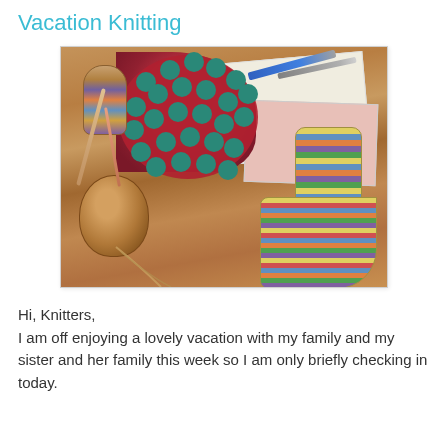Vacation Knitting
[Figure (photo): Photo of vacation knitting projects laid on a wooden table: a colorful striped sock in progress on needles with a skein of yarn, a red and teal bobble knitting piece, and a completed colorful striped sock, with paper and pens in the background.]
Hi, Knitters,
I am off enjoying a lovely vacation with my family and my sister and her family this week so I am only briefly checking in today.